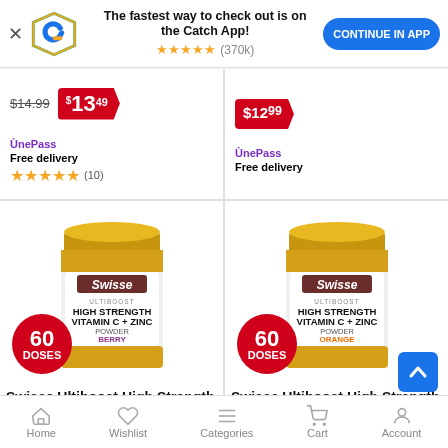[Figure (screenshot): App promotional banner with Catch logo, text 'The fastest way to check out is on the Catch App!', 5 gold stars rating with (370k) reviews, and a blue 'CONTINUE IN APP' button]
$14.99  $13.49
OnePass Free delivery  ★★★★★ (10)
$12.99
OnePass Free delivery
[Figure (photo): Swisse Ultiboost High Strength Vitamin C + Zinc Powder Berry 60 doses product jar with yellow lid]
Swisse Ultiboost High Strength Vitamin C +
[Figure (photo): Swisse Ultiboost High Strength Vitamin C + Zinc Powder Orange 60 doses product jar with yellow lid]
Swisse Ultiboost High Strength Vitamin C +
Home  Wishlist  Categories  Cart  Account